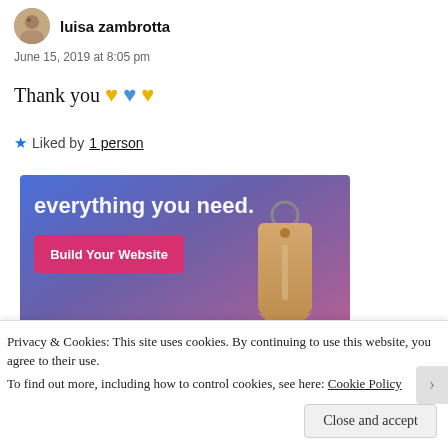luisa zambrotta
June 15, 2019 at 8:05 pm
Thank you 💛💙💛
★ Liked by 1 person
[Figure (screenshot): WordPress.com advertisement banner with text 'everything you need.' and a pink 'Build Your Website' button, with a luggage tag graphic on a blue-purple gradient background.]
Privacy & Cookies: This site uses cookies. By continuing to use this website, you agree to their use.
To find out more, including how to control cookies, see here: Cookie Policy
Close and accept